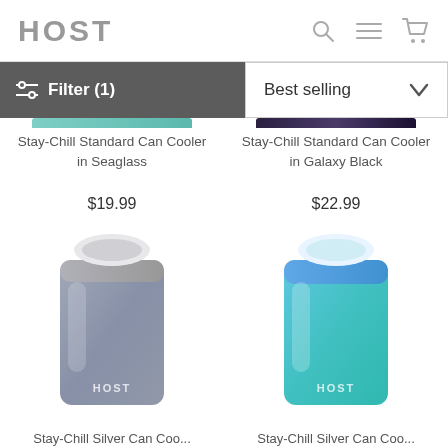HOST
Filter (1)
Best selling
Stay-Chill Standard Can Cooler in Seaglass
$19.99
Stay-Chill Standard Can Cooler in Galaxy Black
$22.99
[Figure (photo): HOST branded can cooler in grey/silver gradient color]
[Figure (photo): HOST branded can cooler in blue/teal gradient color]
Stay-Chill Silver Can Coo...
Stay-Chill Silver Can Coo...